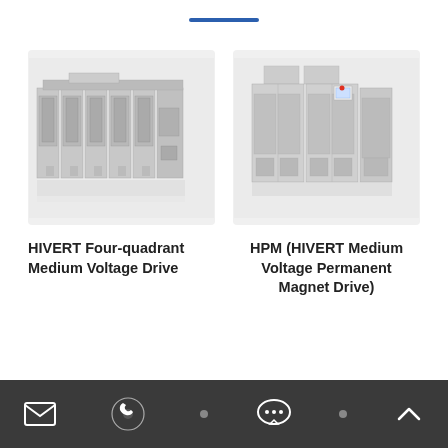[Figure (illustration): Blue decorative horizontal bar at top center of page]
[Figure (photo): HIVERT Four-quadrant Medium Voltage Drive - large industrial cabinet array, multiple grey cabinet units side by side]
HIVERT Four-quadrant Medium Voltage Drive
[Figure (photo): HPM (HIVERT Medium Voltage Permanent Magnet Drive) - industrial cabinet units grouped together with visible ventilation panels]
HPM (HIVERT Medium Voltage Permanent Magnet Drive)
Email | Phone | Chat | Up